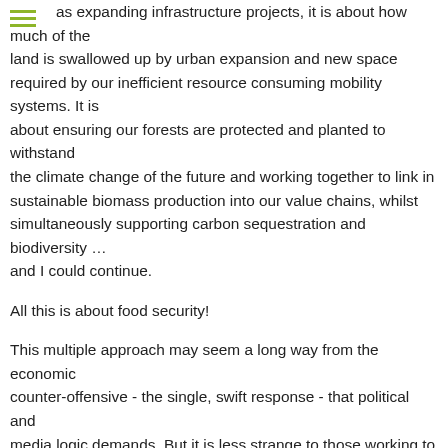as expanding infrastructure projects, it is about how much of the land is swallowed up by urban expansion and new space required by our inefficient resource consuming mobility systems. It is about ensuring our forests are protected and planted to withstand the climate change of the future and working together to link in sustainable biomass production into our value chains, whilst simultaneously supporting carbon sequestration and biodiversity … and I could continue.

All this is about food security!

This multiple approach may seem a long way from the economic counter-offensive - the single, swift response - that political and media logic demands. But it is less strange to those working to hold back the underlying planetary crisis. Here, the cumulative effect of many positive, system-changing decisions is almost the only thing keeping a stable and safe world within reach. While dealing with acute challenges, we are also facing an emerging chronical and systemic environmental and social crisis due to the overuse of